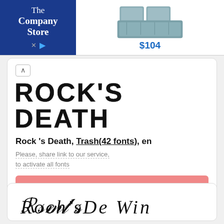[Figure (illustration): Advertisement banner for The Company Store showing a blue/gray bedding set priced at $104. Left side has blue background with company name in white text. Right side shows product image and price.]
^
ROCK'S DEATH
Rock 's Death, Trash(42 fonts), en
Please, share link to our service, to activate all fonts
Apply font
[Figure (illustration): Cursive/script handwriting style font preview showing 'Rock's Death Wind' in decorative script]